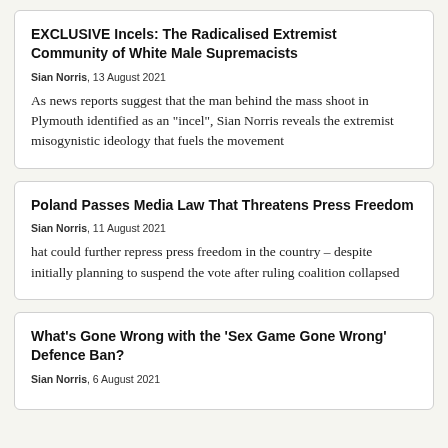EXCLUSIVE Incels: The Radicalised Extremist Community of White Male Supremacists
Sian Norris, 13 August 2021
As news reports suggest that the man behind the mass shoot in Plymouth identified as an "incel", Sian Norris reveals the extremist misogynistic ideology that fuels the movement
Poland Passes Media Law That Threatens Press Freedom
Sian Norris, 11 August 2021
hat could further repress press freedom in the country – despite initially planning to suspend the vote after ruling coalition collapsed
What's Gone Wrong with the 'Sex Game Gone Wrong' Defence Ban?
Sian Norris, 6 August 2021